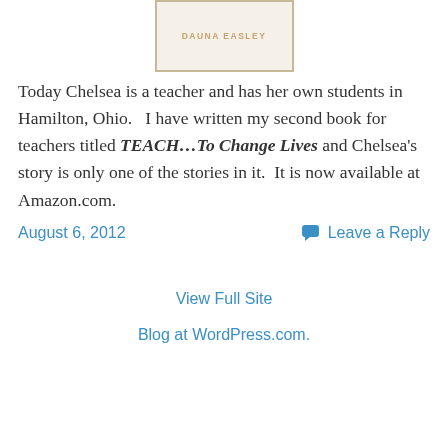[Figure (illustration): Book cover image showing author name DAUNA EASLEY on a tan/cream background with a border]
Today Chelsea is a teacher and has her own students in Hamilton, Ohio.   I have written my second book for teachers titled TEACH…To Change Lives and Chelsea's story is only one of the stories in it.  It is now available at Amazon.com.
August 6, 2012
Leave a Reply
View Full Site
Blog at WordPress.com.